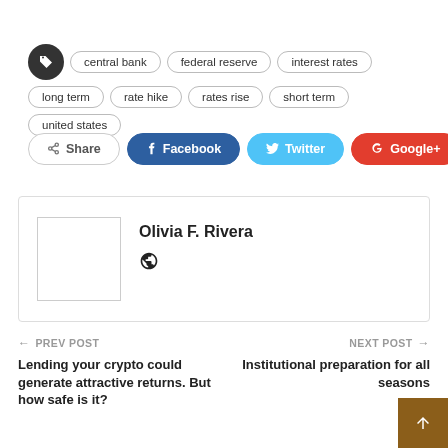central bank
federal reserve
interest rates
long term
rate hike
rates rise
short term
united states
Share  Facebook  Twitter  Google+  +
[Figure (other): Author card with photo placeholder and name Olivia F. Rivera with globe icon]
Olivia F. Rivera
← PREV POST
Lending your crypto could generate attractive returns. But how safe is it?
NEXT POST →
Institutional preparation for all seasons